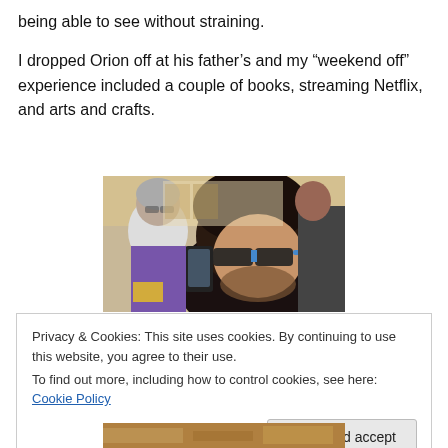being able to see without straining.
I dropped Orion off at his father’s and my “weekend off” experience included a couple of books, streaming Netflix, and arts and crafts.
[Figure (photo): A selfie photo showing a man with dark curly hair wearing glasses with blue frames, taking a mirror selfie with a smartphone. A woman with gray hair is visible smiling in the background.]
Privacy & Cookies: This site uses cookies. By continuing to use this website, you agree to their use.
To find out more, including how to control cookies, see here: Cookie Policy
[Figure (photo): Partial bottom portion of another photo visible at the bottom of the page.]